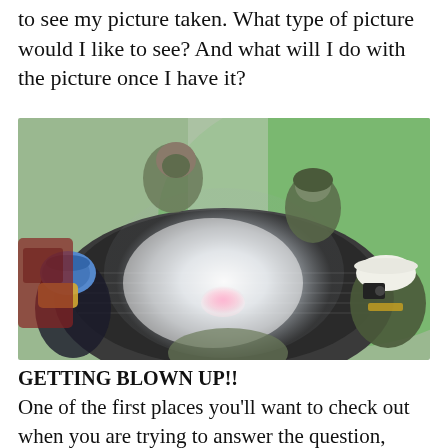to see my picture taken. What type of picture would I like to see? And what will I do with the picture once I have it?
[Figure (photo): Fish-eye lens photo taken from the bed of a pickup truck. Several people wearing camouflage and protective gear/masks are sitting in the truck bed surrounded by colored smoke from a smoke grenade. Green fields and a road are visible in the background.]
GETTING BLOWN UP!!
One of the first places you'll want to check out when you are trying to answer the question, "Where to get a picture blown up?" is...